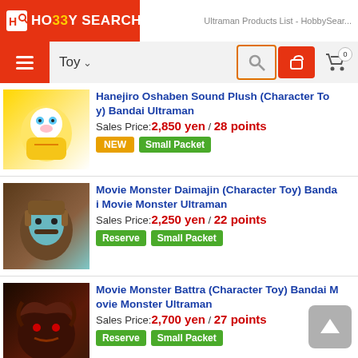HobbySearch logo | Ultraman Products List - HobbySear...
Hanejiro Oshaben Sound Plush (Character Toy) Bandai Ultraman | Sales Price: 2,850 yen / 28 points | NEW | Small Packet
Movie Monster Daimajin (Character Toy) Bandai Movie Monster Ultraman | Sales Price: 2,250 yen / 22 points | Reserve | Small Packet
Movie Monster Battra (Character Toy) Bandai Movie Monster Ultraman | Sales Price: 2,700 yen / 27 points | Reserve | Small Packet
Movie Monster Seven (Character Toy) Bandai Movie Monster Ultraman | Sales Price: 1,900 yen / 19 points | NEW | Small Packet
Movie Monster Ultraman (Character Toy) Banda...